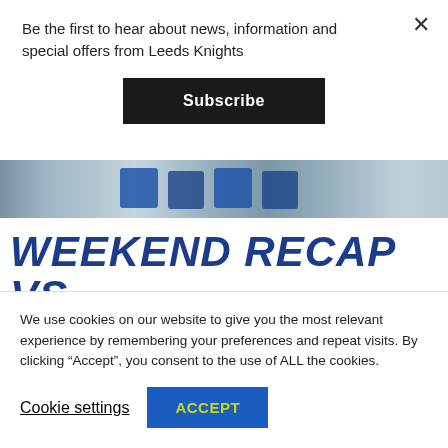Be the first to hear about news, information and special offers from Leeds Knights
Subscribe
[Figure (photo): Ice hockey jerseys/players visible in a blurred rink background photo strip]
WEEKEND RECAP VS BASINGSTOKE BISON
We use cookies on our website to give you the most relevant experience by remembering your preferences and repeat visits. By clicking “Accept”, you consent to the use of ALL the cookies.
Cookie settings
ACCEPT